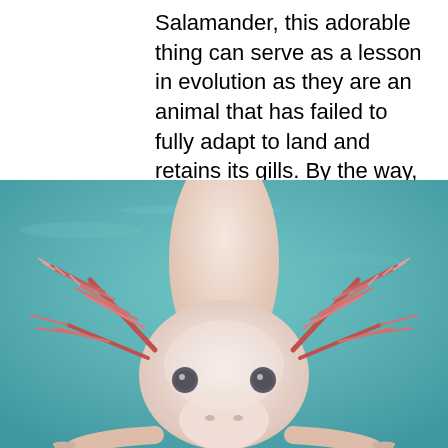Salamander, this adorable thing can serve as a lesson in evolution as they are an animal that has failed to fully adapt to land and retains its gills. By the way, if you should accidentally snap off one of the Axolotl's body parts, don't worry -- it will grow right back.
[Figure (photo): Close-up front-facing photograph of an axolotl (pink/white coloring) underwater against a teal/turquoise background. The axolotl has prominent feathery external gills (pink/red), small black eyes, and a wide rounded head. Its front limbs are visible at the bottom corners of the frame.]